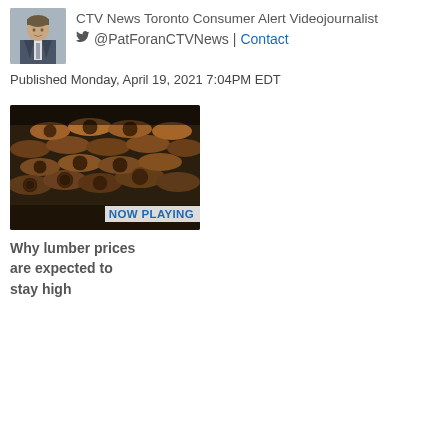[Figure (photo): Author headshot photo of Pat Foran in suit]
CTV News Toronto Consumer Alert Videojournalist
🐦 @PatForanCTVNews | Contact
Published Monday, April 19, 2021 7:04PM EDT
[Figure (photo): Stack of lumber logs thumbnail with NOW PLAYING label]
Why lumber prices are expected to stay high